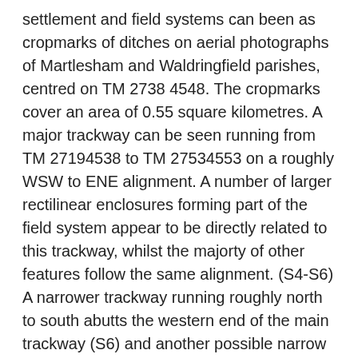settlement and field systems can been as cropmarks of ditches on aerial photographs of Martlesham and Waldringfield parishes, centred on TM 2738 4548. The cropmarks cover an area of 0.55 square kilometres. A major trackway can be seen running from TM 27194538 to TM 27534553 on a roughly WSW to ENE alignment. A number of larger rectilinear enclosures forming part of the field system appear to be directly related to this trackway, whilst the majorty of other features follow the same alignment. (S4-S6) A narrower trackway running roughly north to south abutts the western end of the main trackway (S6) and another possible narrow trackway on the same alignment can be seen to the south of the site at TM 27664508 (S7). A number of much smaller rectilinear enclosure focused on TM27614559 and TM 27694550, possibly settlement enclosures, can also be seen on the same alignment as the field system and may be directly related in some cases (S4). In the